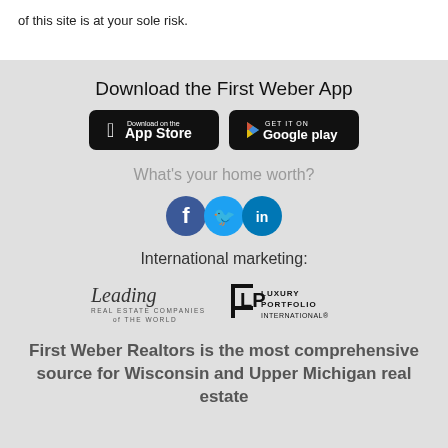of this site is at your sole risk.
Download the First Weber App
[Figure (logo): App Store download button (black rounded rectangle with Apple logo and 'Download on the App Store' text)]
[Figure (logo): Google Play download button (black rounded rectangle with Google Play triangle logo and 'GET IT ON Google play' text)]
What's your home worth?
[Figure (illustration): Social media icons: Facebook (blue circle with 'f'), Twitter (light blue circle with bird), LinkedIn (blue circle with 'in')]
International marketing:
[Figure (logo): Leading Real Estate Companies of the World logo (script 'Leading' with subtitle text)]
[Figure (logo): Luxury Portfolio International logo (LP monogram with text)]
First Weber Realtors is the most comprehensive source for Wisconsin and Upper Michigan real estate